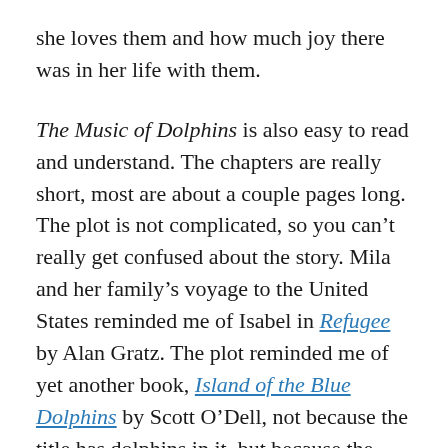she loves them and how much joy there was in her life with them.
The Music of Dolphins is also easy to read and understand. The chapters are really short, most are about a couple pages long. The plot is not complicated, so you can't really get confused about the story. Mila and her family's voyage to the United States reminded me of Isabel in Refugee by Alan Gratz. The plot reminded me of yet another book, Island of the Blue Dolphins by Scott O'Dell, not because the title has dolphins in it, but because the main character in both books is a girl who grows up mostly without human contact.